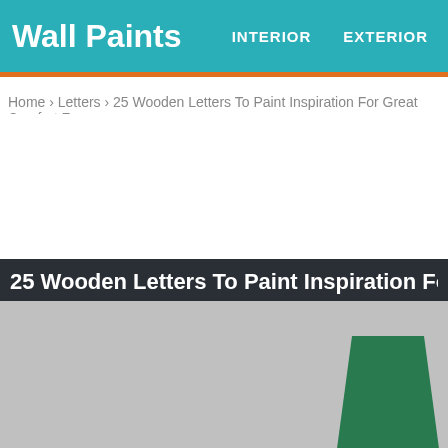Wall Paints | INTERIOR  EXTERIOR
Home › Letters › 25 Wooden Letters To Paint Inspiration For Great Comfort Zone
25 Wooden Letters To Paint Inspiration For Great Comfo
[Figure (photo): Grey background with a green painted wooden letter shape visible on the right side, partially cropped.]